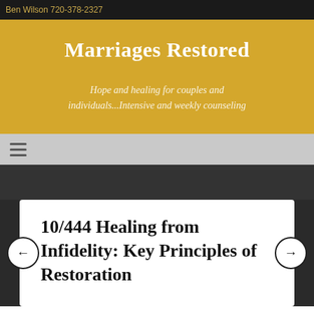Ben Wilson 720-378-2327
Marriages Restored
Hope and healing for couples and individuals...Intensive and weekly counseling
☰
10/444 Healing from Infidelity: Key Principles of Restoration